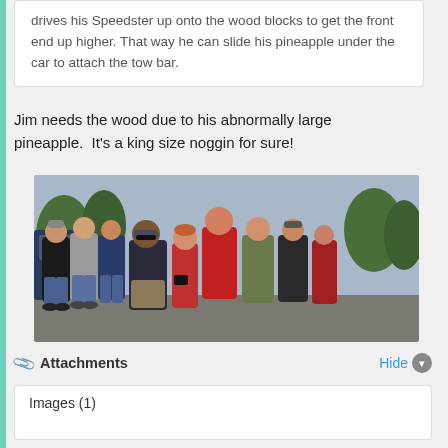drives his Speedster up onto the wood blocks to get the front end up higher. That way he can slide his pineapple under the car to attach the tow bar.
Jim needs the wood due to his abnormally large pineapple.  It's a king size noggin for sure!
[Figure (photo): Group photo of approximately 10 people standing together outdoors in a parking lot area with trees in the background. People are wearing casual clothing including jeans, t-shirts, and jackets.]
Attachments   Hide
Images (1)